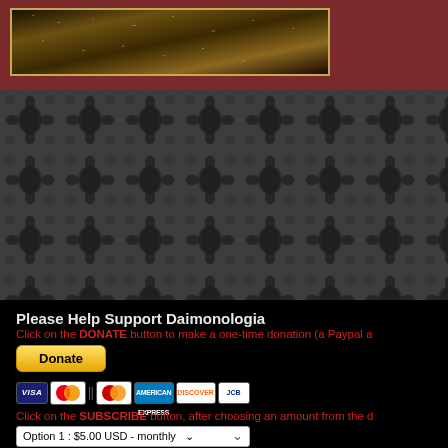[Figure (photo): Partial view of a decorated image with golden/dark tones and ornate border, set within a dark red/maroon background panel]
[Figure (illustration): Dark damask wallpaper pattern with repeating floral/ornate motifs on dark grey background]
Please Help Support Daimonologia
Click on the DONATE button to make a one-time donation (a Paypal a
[Figure (other): Yellow Donate button with PayPal styling]
[Figure (other): Payment card logos: Visa, Mastercard, American Express, Discover, JCB]
Click on the SUBSCRIBE button, after choosing an amount from the d
[Figure (other): Dropdown selector showing Option 1 : $5.00 USD - monthly]
[Figure (other): Yellow Subscribe button with PayPal styling]